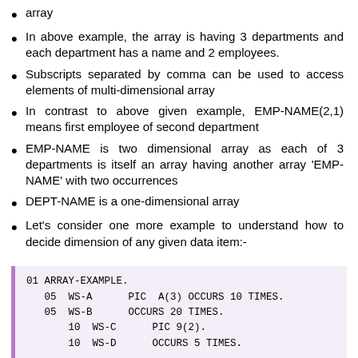array
In above example, the array is having 3 departments and each department has a name and 2 employees.
Subscripts separated by comma can be used to access elements of multi-dimensional array
In contrast to above given example, EMP-NAME(2,1) means first employee of second department
EMP-NAME is two dimensional array as each of 3 departments is itself an array having another array 'EMP-NAME' with two occurrences
DEPT-NAME is a one-dimensional array
Let's consider one more example to understand how to decide dimension of any given data item:-
[Figure (screenshot): COBOL code block showing 01 ARRAY-EXAMPLE with nested 05 WS-A PIC A(3) OCCURS 10 TIMES, 05 WS-B OCCURS 20 TIMES, 10 WS-C PIC 9(2), 10 WS-D OCCURS 5 TIMES.]